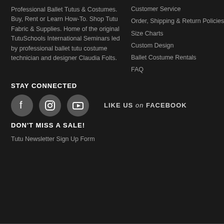Professional Ballet Tutus & Costumes. Buy, Rent or Learn How-To. Shop Tutu Fabric & Supplies. Home of the original TutuSchools International Seminars led by professional ballet tutu costume technician and designer Claudia Folts.
Customer Service
Order, Shipping & Return Policies
Size Charts
Custom Design
Ballet Costume Rentals
FAQ
STAY CONNECTED
[Figure (infographic): Three social media icons (Facebook, Instagram, YouTube) as white icons on dark circular backgrounds, followed by text LIKE US on FACEBOOK]
DON'T MISS A SALE!
Tutu Newsletter Sign Up Form